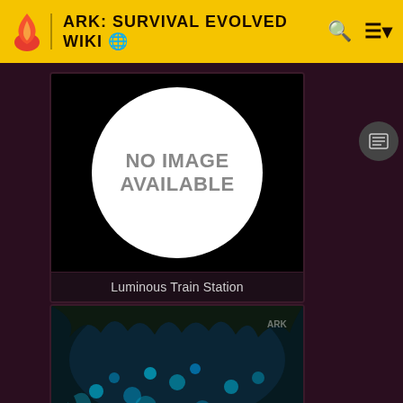ARK: SURVIVAL EVOLVED WIKI
[Figure (screenshot): No Image Available placeholder card with white circle on black background, labeled 'Luminous Train Station']
Luminous Train Station
[Figure (photo): Screenshot of a bioluminescent cave/forest environment from ARK: Survival Evolved, with blue glowing plants and rocky terrain]